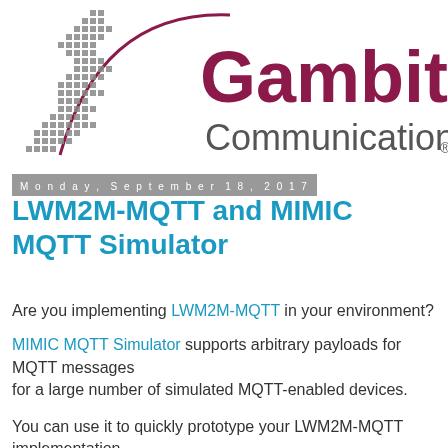[Figure (logo): Gambit Communications logo with stylized chess knight piece and curved line, text 'Gambit Communications']
Monday, September 18, 2017
LWM2M-MQTT and MIMIC MQTT Simulator
Are you implementing LWM2M-MQTT in your environment?
MIMIC MQTT Simulator supports arbitrary payloads for MQTT messages for a large number of simulated MQTT-enabled devices.
You can use it to quickly prototype your LWM2M-MQTT implementation.